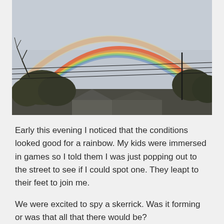[Figure (photo): Outdoor photograph showing a double rainbow arching across a grey overcast sky, with power lines running horizontally across the scene and trees and rooftops visible at the bottom of the image.]
Early this evening I noticed that the conditions looked good for a rainbow. My kids were immersed in games so I told them I was just popping out to the street to see if I could spot one. They leapt to their feet to join me.
We were excited to spy a skerrick. Was it forming or was that all that there would be?